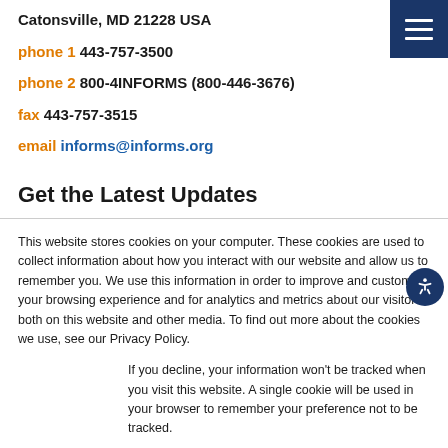Catonsville, MD 21228 USA
phone 1 443-757-3500
phone 2 800-4INFORMS (800-446-3676)
fax 443-757-3515
email informs@informs.org
Get the Latest Updates
This website stores cookies on your computer. These cookies are used to collect information about how you interact with our website and allow us to remember you. We use this information in order to improve and customize your browsing experience and for analytics and metrics about our visitors both on this website and other media. To find out more about the cookies we use, see our Privacy Policy.
If you decline, your information won't be tracked when you visit this website. A single cookie will be used in your browser to remember your preference not to be tracked.